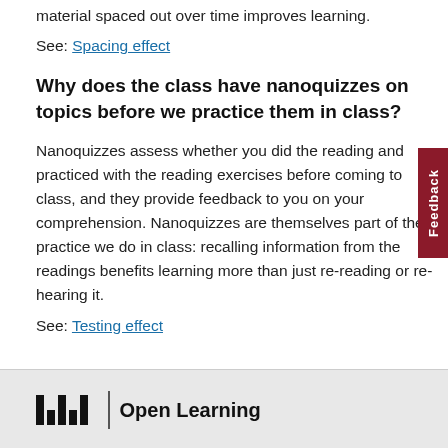material spaced out over time improves learning.
See: Spacing effect
Why does the class have nanoquizzes on topics before we practice them in class?
Nanoquizzes assess whether you did the reading and practiced with the reading exercises before coming to class, and they provide feedback to you on your comprehension. Nanoquizzes are themselves part of the practice we do in class: recalling information from the readings benefits learning more than just re-reading or re-hearing it.
See: Testing effect
MIT | Open Learning